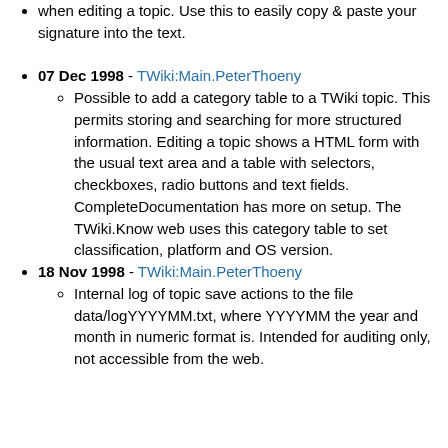when editing a topic. Use this to easily copy & paste your signature into the text.
07 Dec 1998 - TWiki:Main.PeterThoeny
Possible to add a category table to a TWiki topic. This permits storing and searching for more structured information. Editing a topic shows a HTML form with the usual text area and a table with selectors, checkboxes, radio buttons and text fields. CompleteDocumentation has more on setup. The TWiki.Know web uses this category table to set classification, platform and OS version.
18 Nov 1998 - TWiki:Main.PeterThoeny
Internal log of topic save actions to the file data/logYYYYMM.txt, where YYYYMM the year and month in numeric format is. Intended for auditing only, not accessible from the web.